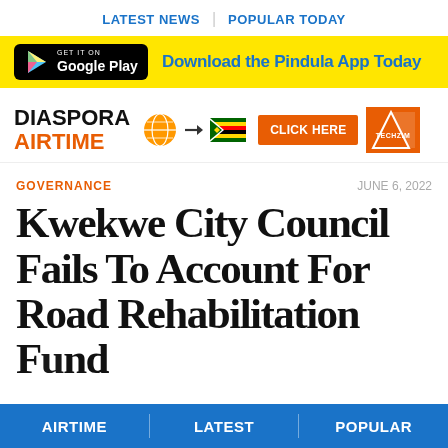LATEST NEWS | POPULAR TODAY
[Figure (infographic): Google Play download banner for Pindula App on yellow background]
[Figure (infographic): Diaspora Airtime advertisement banner with globe icon, Zimbabwe flag, CLICK HERE button, and Techzim logo]
GOVERNANCE
JUNE 6, 2022
Kwekwe City Council Fails To Account For Road Rehabilitation Fund
AIRTIME | LATEST | POPULAR